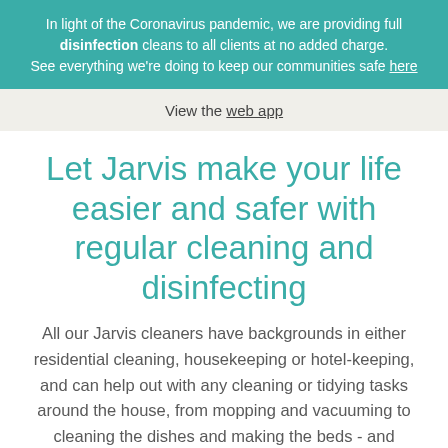In light of the Coronavirus pandemic, we are providing full disinfection cleans to all clients at no added charge. See everything we're doing to keep our communities safe here
View the web app
Let Jarvis make your life easier and safer with regular cleaning and disinfecting
All our Jarvis cleaners have backgrounds in either residential cleaning, housekeeping or hotel-keeping, and can help out with any cleaning or tidying tasks around the house, from mopping and vacuuming to cleaning the dishes and making the beds - and everything in between.